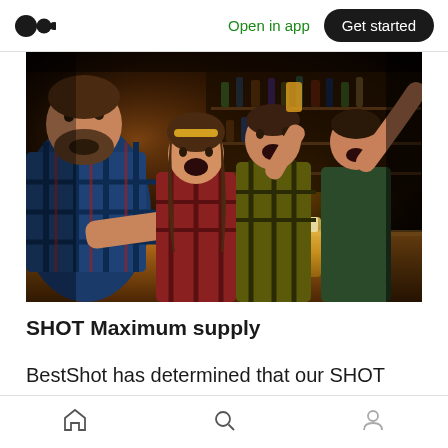Open in app | Get started
[Figure (photo): Group of excited people (sports fans) cheering at a bar, holding drinks, celebrating at a counter with bar equipment in the background]
SHOT Maximum supply
BestShot has determined that our SHOT tokens will be limited to 300 million tokens. We have this
Home | Search | Profile